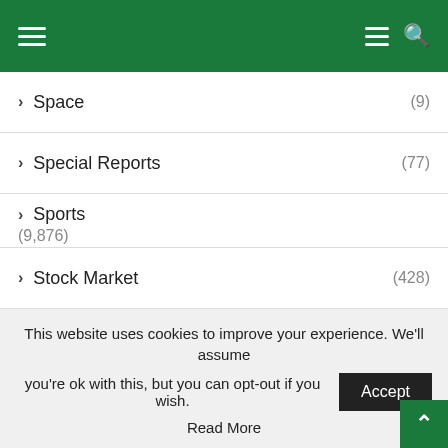Navigation header with hamburger menu and search icon
> Space (9)
> Special Reports (77)
> Sports (9,876)
> Stock Market (428)
> Style & Fashion (57)
> Tech (816)
> Tennis (257)
This website uses cookies to improve your experience. We'll assume you're ok with this, but you can opt-out if you wish. Accept Read More